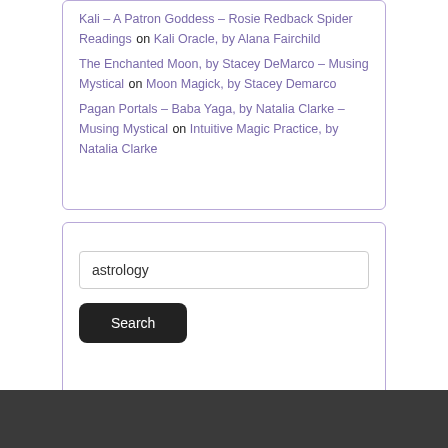Kali – A Patron Goddess – Rosie Redback Spider Readings on Kali Oracle, by Alana Fairchild
The Enchanted Moon, by Stacey DeMarco – Musing Mystical on Moon Magick, by Stacey Demarco
Pagan Portals – Baba Yaga, by Natalia Clarke – Musing Mystical on Intuitive Magic Practice, by Natalia Clarke
astrology
Search